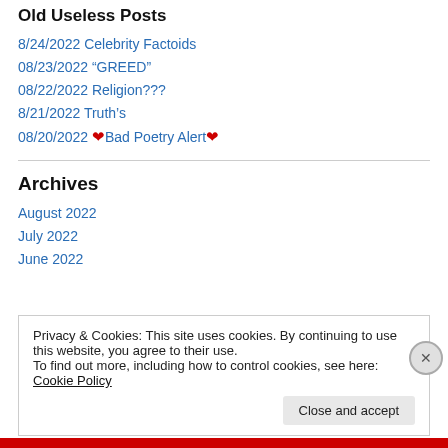Old Useless Posts
8/24/2022 Celebrity Factoids
08/23/2022 “GREED”
08/22/2022 Religion???
8/21/2022 Truth’s
08/20/2022 ❤Bad Poetry Alert❤
Archives
August 2022
July 2022
June 2022
Privacy & Cookies: This site uses cookies. By continuing to use this website, you agree to their use.
To find out more, including how to control cookies, see here: Cookie Policy
Close and accept